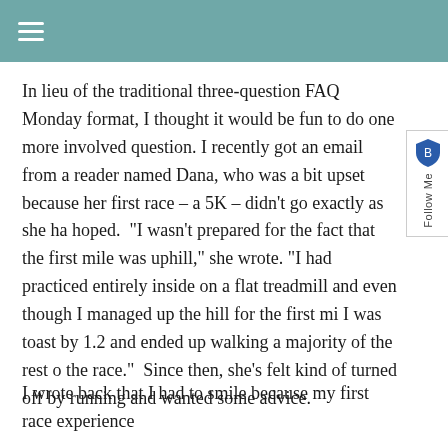≡
In lieu of the traditional three-question FAQ Monday format, I thought it would be fun to do one more involved question. I recently got an email from a reader named Dana, who was a bit upset because her first race – a 5K – didn't go exactly as she had hoped.  "I wasn't prepared for the fact that the first mile was uphill," she wrote. "I had practiced entirely inside on a flat treadmill and even though I managed up the hill for the first mile, I was toast by 1.2 and ended up walking a majority of the rest of the race."  Since then, she's felt kind of turned off by running and wanted some advice.
I wrote back that I had to smile because my first race experience